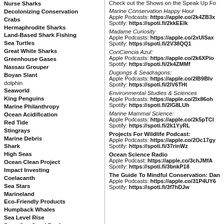Nurse Sharks
Decolonizing Conservation
Crabs
Hermaphrodite Sharks
Land-Based Shark Fishing
Sea Turtles
Great White Sharks
Greenhouse Gases
Nassau Grouper
Boyan Slant
dolphin
Seaworld
King Penguins
Marine Philanthropy
Ocean Acidification
Red Tide
Stingrays
Marine Debris
Shark
High Seas
Ocean Clean Project
Impact Investing
Coelacanth
Sea Stars
Marineland
Eco-Friendly Products
Humpback Whales
Sea Level Rise
Deep Sea Coral Reef
Kelp forest
Pipeline
Sustainable
Seals
Check out the Shows on the Speak Up Fo
Marine Conservation Happy Hour
Apple Podcasts: https://apple.co/2k4ZB3x
Spotify: https://spoti.fi/2kkEElk
Madame Curiosity
Apple Podcasts: https://apple.co/2xUlSax
Spotify: https://spoti.fi/2V38QQ1
ConCiencia Azul:
Apple Podcasts: https://apple.co/2k6XPio
Spotify: https://spoti.fi/2k4ZMMf
Dugongs & Seadragons:
Apple Podcasts: https://apple.co/2lB9Blv
Spotify: https://spoti.fi/2lV6THt
Environmental Studies & Sciences
Apple Podcasts: https://apple.co/2lx86oh
Spotify: https://spoti.fi/2lG8LUh
Marine Mammal Science:
Apple Podcasts: https://apple.co/2k5pTCl
Spotify: https://spoti.fi/2k1YyRL
Projects For Wildlife Podcast:
Apple Podcasts: https://apple.co/2Oc17gy
Spotify: https://spoti.fi/37rinWz
Ocean Science Radio
Apple Podcast: https://apple.co/3chJMfA
Spotify: https://spoti.fi/3bnkP18
The Guide To Mindful Conservation: Dan
Apple Podcasts: https://apple.co/31P4UY6
Spotify: https://spoti.fi/3f7hDJw